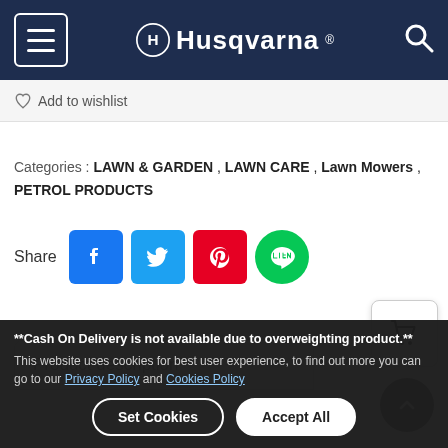Husqvarna
♡ Add to wishlist
Categories : LAWN & GARDEN , LAWN CARE , Lawn Mowers , PETROL PRODUCTS
Share [Facebook] [Twitter] [Pinterest] [LINE]
[Figure (screenshot): Cart button (shopping cart icon) and scroll-up button (arrow up in grey circle)]
Product description
**Cash On Delivery is not available due to overweighting product.**
This website uses cookies for best user experience, to find out more you can go to our Privacy Policy and Cookies Policy
Set Cookies   Accept All